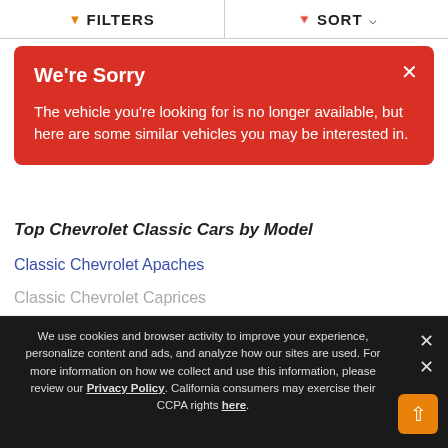FILTERS   SORT
We're Sorry
The vehicle you're looking for is no longer available, but here are some similar vehicles you may be interested in.
Top Chevrolet Classic Cars by Model
Classic Chevrolet Apaches
Classic Chevrolet Bel Airs
Classic Chevrolet Biscaynes
Classic Chevrolet Blazers
Classic Chevrolet C/K Trucks
Classic Chevrolet Camaros
Classic Chevrolet Caprices
We use cookies and browser activity to improve your experience, personalize content and ads, and analyze how our sites are used. For more information on how we collect and use this information, please review our Privacy Policy. California consumers may exercise their CCPA rights here.